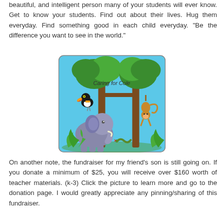beautiful, and intelligent person many of your students will ever know.  Get to know your students.  Find out about their lives.  Hug them everyday.  Find something good in each child everyday.  "Be the difference you want to see in the world."
[Figure (illustration): Cartoon illustration with light blue background and rounded rectangle border. Shows jungle/safari scene with trees, a toucan bird on a branch, a monkey hanging from a branch, an elephant, small snake, and tropical plants. Text 'Caring for Cole' in center top area.]
On another note, the fundraiser for my friend's son is still going on.  If you donate a minimum of $25, you will receive over $160 worth of teacher materials. (k-3)  Click the picture to learn more and go to the donation page.  I would greatly appreciate any pinning/sharing of this fundraiser.